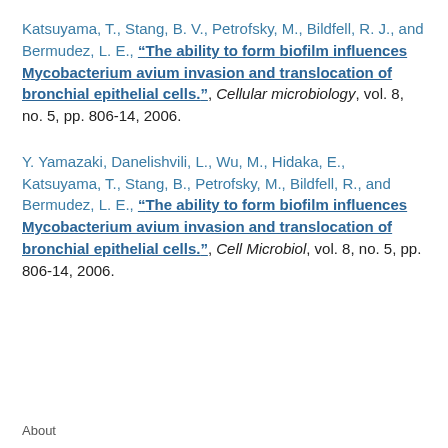Katsuyama, T., Stang, B. V., Petrofsky, M., Bildfell, R. J., and Bermudez, L. E., "The ability to form biofilm influences Mycobacterium avium invasion and translocation of bronchial epithelial cells.", Cellular microbiology, vol. 8, no. 5, pp. 806-14, 2006.
Y. Yamazaki, Danelishvili, L., Wu, M., Hidaka, E., Katsuyama, T., Stang, B., Petrofsky, M., Bildfell, R., and Bermudez, L. E., "The ability to form biofilm influences Mycobacterium avium invasion and translocation of bronchial epithelial cells.", Cell Microbiol, vol. 8, no. 5, pp. 806-14, 2006.
About